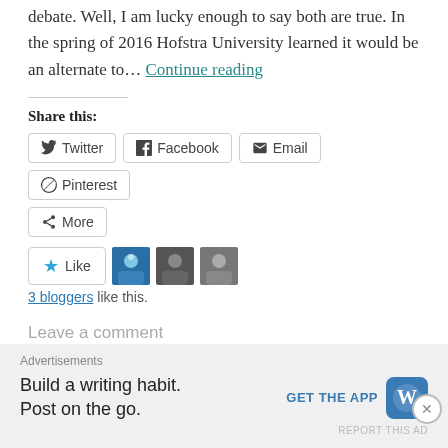debate. Well, I am lucky enough to say both are true. In the spring of 2016 Hofstra University learned it would be an alternate to… Continue reading
Share this:
Twitter  Facebook  Email  Pinterest  More
[Figure (other): Like button with star icon, and three blogger avatars]
3 bloggers like this.
Leave a comment
Advertisements  Build a writing habit. Post on the go.  GET THE APP